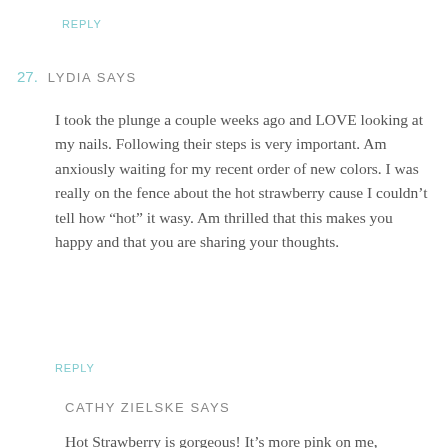REPLY
27. LYDIA SAYS
I took the plunge a couple weeks ago and LOVE looking at my nails. Following their steps is very important. Am anxiously waiting for my recent order of new colors. I was really on the fence about the hot strawberry cause I couldn't tell how “hot” it wasy. Am thrilled that this makes you happy and that you are sharing your thoughts.
REPLY
CATHY ZIELSKE SAYS
Hot Strawberry is gorgeous! It’s more pink on me,